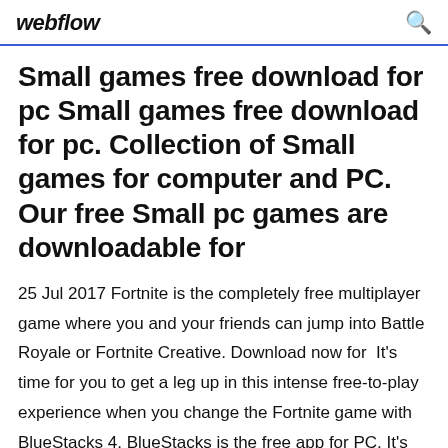webflow
Small games free download for pc Small games free download for pc. Collection of Small games for computer and PC. Our free Small pc games are downloadable for
25 Jul 2017 Fortnite is the completely free multiplayer game where you and your friends can jump into Battle Royale or Fortnite Creative. Download now for  It's time for you to get a leg up in this intense free-to-play experience when you change the Fortnite game with BlueStacks 4. BlueStacks is the free app for PC. It's powerful for Android